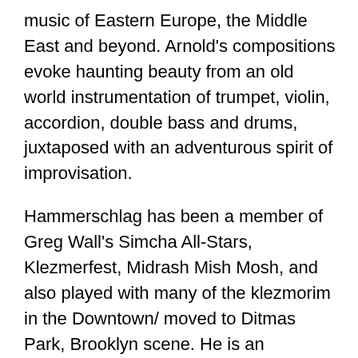music of Eastern Europe, the Middle East and beyond. Arnold's compositions evoke haunting beauty from an old world instrumentation of trumpet, violin, accordion, double bass and drums, juxtaposed with an adventurous spirit of improvisation.
Hammerschlag has been a member of Greg Wall's Simcha All-Stars, Klezmerfest, Midrash Mish Mosh, and also played with many of the klezmorim in the Downtown/ moved to Ditmas Park, Brooklyn scene. He is an exceptional trumpet player, composer and musical thinker.
Arnold emerged from Seattle's potently creative music scene of the early 90's where he was a